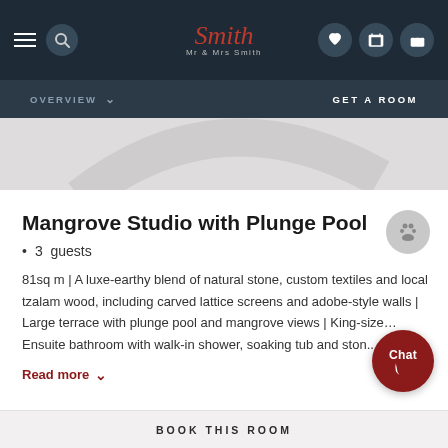Mr & Mrs Smith — Navigation bar with logo, search, phone, wishlist, bag icons
OVERVIEW | GET A ROOM
[Figure (photo): Partial hero/banner image with light grey background showing curved decorative element]
Mangrove Studio with Plunge Pool
3  guests
81sq m | A luxe-earthy blend of natural stone, custom textiles and local tzalam wood, including carved lattice screens and adobe-style walls | Large terrace with plunge pool and mangrove views | King-size… Ensuite bathroom with walk-in shower, soaking tub and ston...
Read more
BOOK THIS ROOM